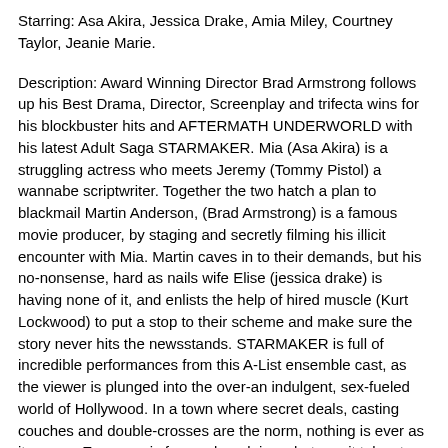Starring: Asa Akira, Jessica Drake, Amia Miley, Courtney Taylor, Jeanie Marie.
Description: Award Winning Director Brad Armstrong follows up his Best Drama, Director, Screenplay and trifecta wins for his blockbuster hits and AFTERMATH UNDERWORLD with his latest Adult Saga STARMAKER. Mia (Asa Akira) is a struggling actress who meets Jeremy (Tommy Pistol) a wannabe scriptwriter. Together the two hatch a plan to blackmail Martin Anderson, (Brad Armstrong) is a famous movie producer, by staging and secretly filming his illicit encounter with Mia. Martin caves in to their demands, but his no-nonsense, hard as nails wife Elise (jessica drake) is having none of it, and enlists the help of hired muscle (Kurt Lockwood) to put a stop to their scheme and make sure the story never hits the newsstands. STARMAKER is full of incredible performances from this A-List ensemble cast, as the viewer is plunged into the over-an indulgent, sex-fueled world of Hollywood. In a town where secret deals, casting couches and double-crosses are the norm, nothing is ever as it seems. Everyone is focused on doing whatever it takes to make it, and all theyre looking for is that one big break. The only question is. What would YOU do to be famous?